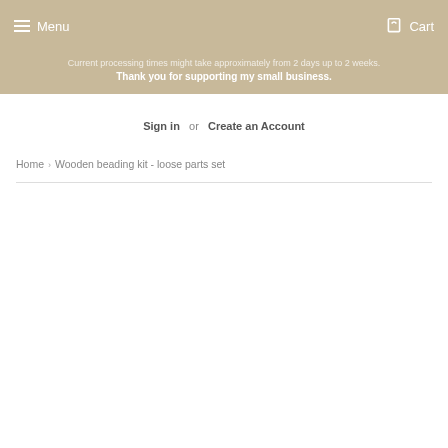Menu  Cart
Current processing times might take approximately from 2 days up to 2 weeks. Thank you for supporting my small business.
Sign in  or  Create an Account
Home › Wooden beading kit - loose parts set